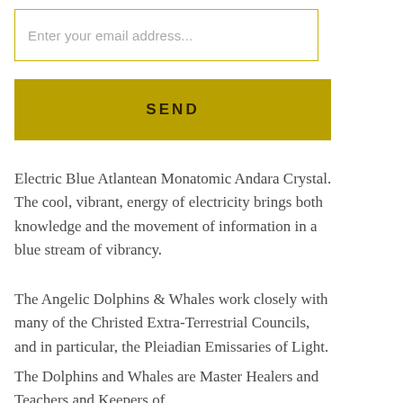Enter your email address...
SEND
Electric Blue Atlantean Monatomic Andara Crystal. The cool, vibrant, energy of electricity brings both knowledge and the movement of information in a blue stream of vibrancy.
The Angelic Dolphins & Whales work closely with many of the Christed Extra-Terrestrial Councils, and in particular, the Pleiadian Emissaries of Light.
The Dolphins and Whales are Master Healers and Teachers and Keepers of